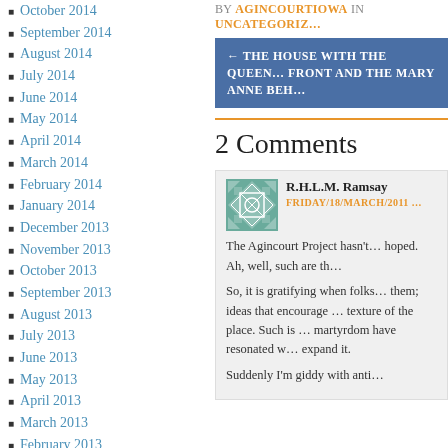October 2014
September 2014
August 2014
July 2014
June 2014
May 2014
April 2014
March 2014
February 2014
January 2014
December 2013
November 2013
October 2013
September 2013
August 2013
July 2013
June 2013
May 2013
April 2013
March 2013
February 2013
January 2013
December 2012
November 2012
BY AGINCOURTIOWA IN UNCATEGORIZ…
← THE HOUSE WITH THE QUEEN… FRONT AND THE MARY ANNE BEH…
2 Comments
R.H.L.M. Ramsay
FRIDAY/18/MARCH/2011 …
The Agincourt Project hasn't… hoped. Ah, well, such are th…
So, it is gratifying when folks… them; ideas that encourage … texture of the place. Such is … martyrdom have resonated w… expand it.
Suddenly I'm giddy with anti…